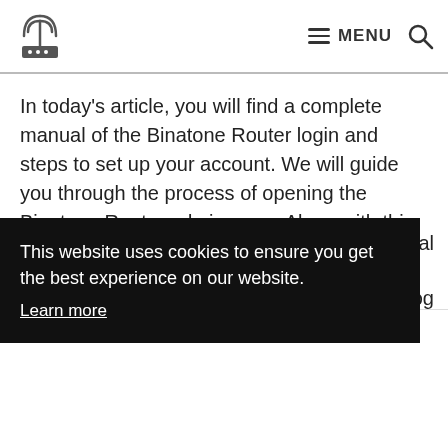MENU [logo] [search]
In today's article, you will find a complete manual of the Binatone Router login and steps to set up your account. We will guide you through the process of opening the Binatone Router admin page. Along with this, you can check out this article, an easy guide for mi router login!
e usual
to log
This website uses cookies to ensure you get the best experience on our website.
Learn more